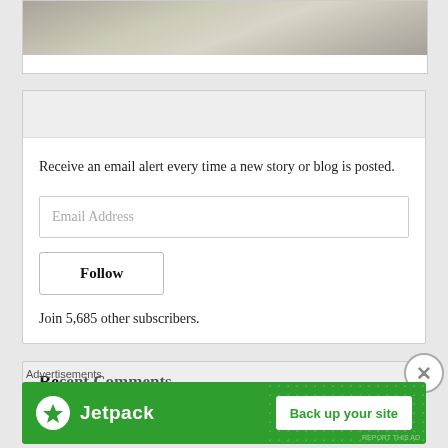[Figure (photo): Partial image of a road or concrete surface, cropped at top of page]
Follow Time Gents
Receive an email alert every time a new story or blog is posted.
Email Address
Follow
Join 5,685 other subscribers.
Recent Comments
Advertisements
[Figure (infographic): Jetpack advertisement banner with text 'Back up your site' on green background]